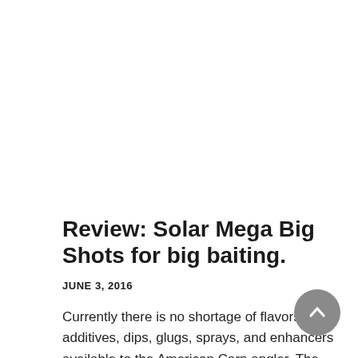Review: Solar Mega Big Shots for big baiting.
JUNE 3, 2016
Currently there is no shortage of flavors, additives, dips, glugs, sprays, and enhancers available to the American Carp angler. The selection is overwhelming, you have the option of sticking